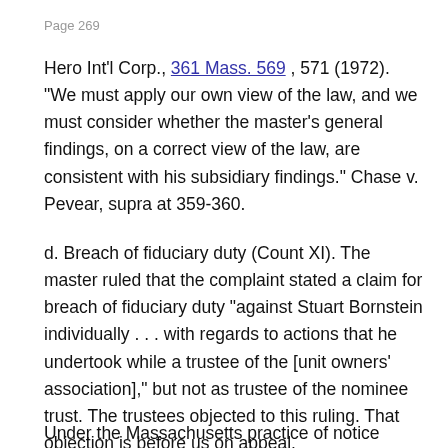Page 269
Hero Int'l Corp., 361 Mass. 569 , 571 (1972). "We must apply our own view of the law, and we must consider whether the master's general findings, on a correct view of the law, are consistent with his subsidiary findings." Chase v. Pevear, supra at 359-360.
d. Breach of fiduciary duty (Count XI). The master ruled that the complaint stated a claim for breach of fiduciary duty "against Stuart Bornstein individually . . . with regards to actions that he undertook while a trustee of the [unit owners' association]," but not as trustee of the nominee trust. The trustees objected to this ruling. That objection is before us on appeal.
Under the Massachusetts practice of notice pleading